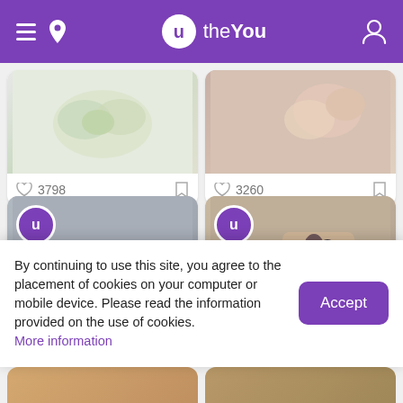theYou - navigation header with hamburger menu, location icon, logo, and user icon
[Figure (photo): Top-left card: white floral corsage/boutonniere with greenery on white background, like count 3798]
[Figure (photo): Top-right card: pink floral wrist corsage being worn, like count 3260]
[Figure (photo): Middle-left card: red rose wrist corsage with greenery on gray background, theYou badge overlay]
[Figure (photo): Middle-right card: dark feather wrist corsage on a hand, theYou badge overlay]
By continuing to use this site, you agree to the placement of cookies on your computer or mobile device. Please read the information provided on the use of cookies. More information
[Figure (photo): Bottom-left partial card: colorful floral arrangement, partially visible]
[Figure (photo): Bottom-right partial card: floral arrangement, partially visible]